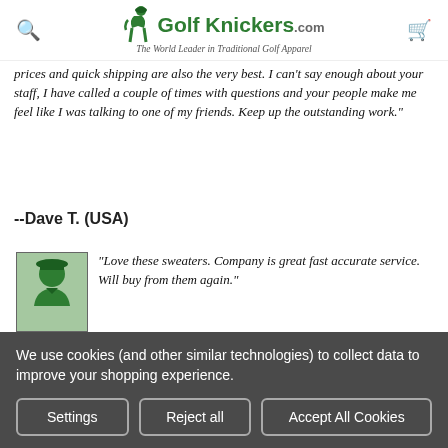GolfKnickers.com — The World Leader in Traditional Golf Apparel
prices and quick shipping are also the very best. I can't say enough about your staff, I have called a couple of times with questions and your people make me feel like I was talking to one of my friends. Keep up the outstanding work."
--Dave T. (USA)
[Figure (illustration): Green silhouette avatar icon of a person wearing a hat]
"Love these sweaters. Company is great fast accurate service. Will buy from them again."
--Pamela D. (Clinton, NJ)
[Figure (illustration): Partial green avatar icon]
"They are as advertised. I was worried
We use cookies (and other similar technologies) to collect data to improve your shopping experience.